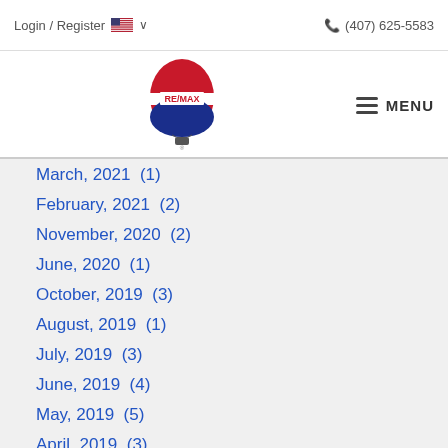Login / Register  (407) 625-5583
[Figure (logo): RE/MAX hot air balloon logo]
March, 2021  (1)
February, 2021  (2)
November, 2020  (2)
June, 2020  (1)
October, 2019  (3)
August, 2019  (1)
July, 2019  (3)
June, 2019  (4)
May, 2019  (5)
April, 2019  (3)
March, 2019  (2)